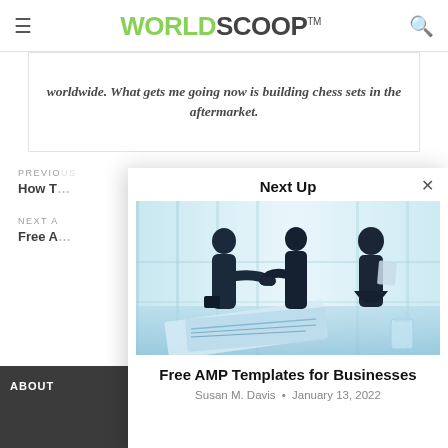WORLDSCOOP™
worldwide. What gets me going now is building chess sets in the aftermarket.
PREVIOUS
How T
NEXT A
Free A
ABOUT
Next Up
[Figure (photo): Three business people silhouetted against bright windows, two shaking hands, one holding documents, with charts/graphs on a desk in the foreground]
Free AMP Templates for Businesses
Susan M. Davis • January 13, 2022